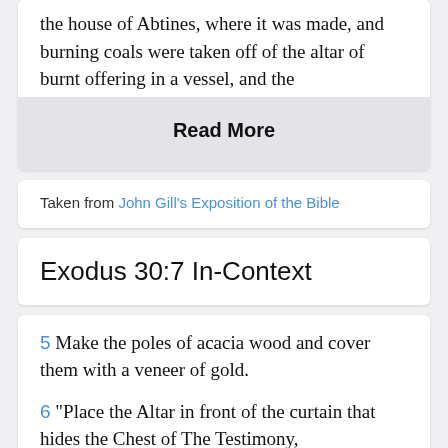the house of Abtines, where it was made, and burning coals were taken off of the altar of burnt offering in a vessel, and the
Read More
Taken from John Gill's Exposition of the Bible
Exodus 30:7 In-Context
5 Make the poles of acacia wood and cover them with a veneer of gold.
6 "Place the Altar in front of the curtain that hides the Chest of The Testimony,